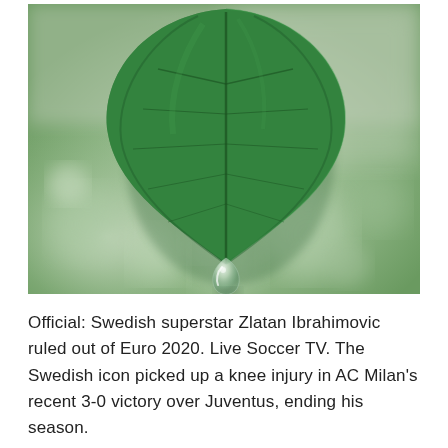[Figure (photo): Close-up macro photograph of a green leaf with a clear water droplet hanging from its tip, against a blurred green bokeh background.]
Official: Swedish superstar Zlatan Ibrahimovic ruled out of Euro 2020. Live Soccer TV. The Swedish icon picked up a knee injury in AC Milan's recent 3-0 victory over Juventus, ending his season.